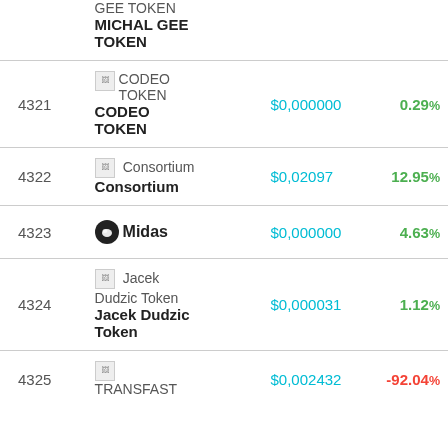| # | Name | Price | Change |
| --- | --- | --- | --- |
|  | GEE TOKEN
MICHAL GEE TOKEN |  |  |
| 4321 | CODEO TOKEN
CODEO TOKEN | $0,000000 | 0.29% |
| 4322 | Consortium
Consortium | $0,02097 | 12.95% |
| 4323 | Midas | $0,000000 | 4.63% |
| 4324 | Jacek Dudzic Token
Jacek Dudzic Token | $0,000031 | 1.12% |
| 4325 | TRANSFAST | $0,002432 | -92.04% |